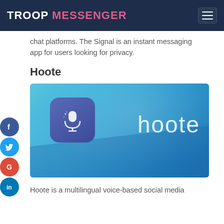TROOP MESSENGER
chat platforms. The Signal is an instant messaging app for users looking for privacy.
Hoote
[Figure (logo): Hoote app logo on a blue gradient background with a microphone icon and the word 'hoote']
Hoote is a multilingual voice-based social media